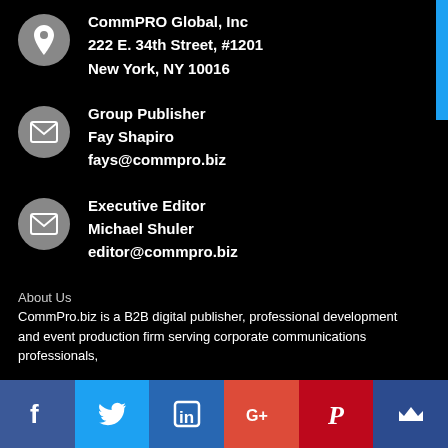CommPRO Global, Inc
222 E. 34th Street, #1201
New York, NY 10016
Group Publisher
Fay Shapiro
fays@commpro.biz
Executive Editor
Michael Shuler
editor@commpro.biz
About Us
CommPro.biz is a B2B digital publisher, professional development
and event production firm serving corporate communications
professionals,
[Figure (infographic): Social media icon bar at bottom: Facebook (dark blue), Twitter (light blue), LinkedIn (blue), Google+ (red-orange), Pinterest (dark red), Crown icon (dark blue)]